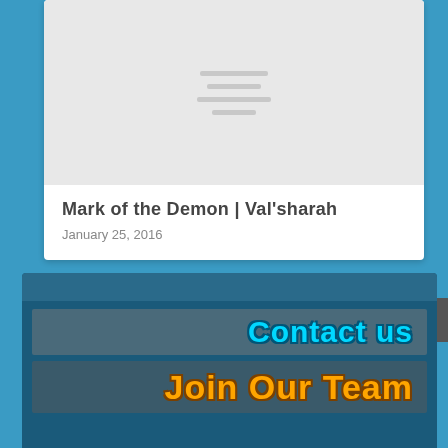[Figure (screenshot): Gray placeholder image with horizontal loading lines]
Mark of the Demon | Val'sharah
January 25, 2016
[Figure (screenshot): Website widget with 'Contact us' in cyan text and 'Join Our Team' in orange text on dark blue background]